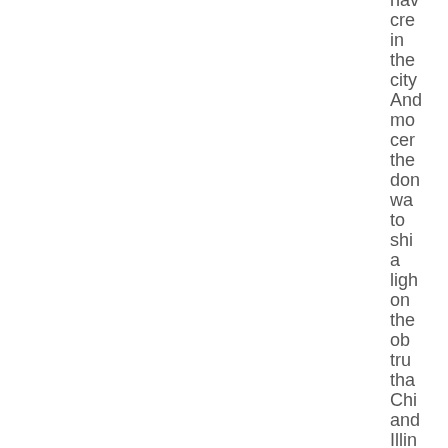hav cre in the city And mo cer the don wa to shi a lig on the ob tru tha Chi and Illin